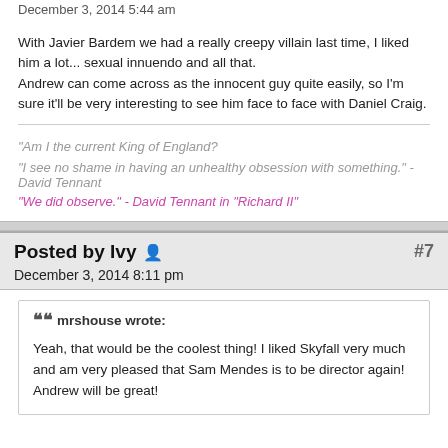December 3, 2014 5:44 am
With Javier Bardem we had a really creepy villain last time, I liked him a lot... sexual innuendo and all that.
Andrew can come across as the innocent guy quite easily, so I'm sure it'll be very interesting to see him face to face with Daniel Craig.
"Am I the current King of England?"
"I see no shame in having an unhealthy obsession with something." - David Tennant
"We did observe." - David Tennant in "Richard II"
Posted by Ivy  #7
December 3, 2014 8:11 pm
mrshouse wrote:
Yeah, that would be the coolest thing! I liked Skyfall very much and am very pleased that Sam Mendes is to be director again!
Andrew will be great!